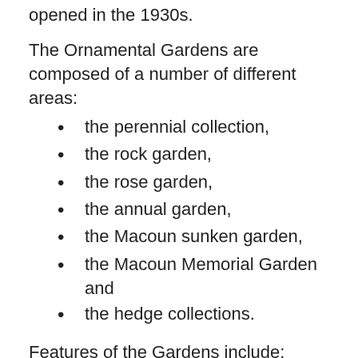opened in the 1930s.
The Ornamental Gardens are composed of a number of different areas:
the perennial collection,
the rock garden,
the rose garden,
the annual garden,
the Macoun sunken garden,
the Macoun Memorial Garden and
the hedge collections.
Features of the Gardens include:
100 types of irises.
125 different lilac varieties, including